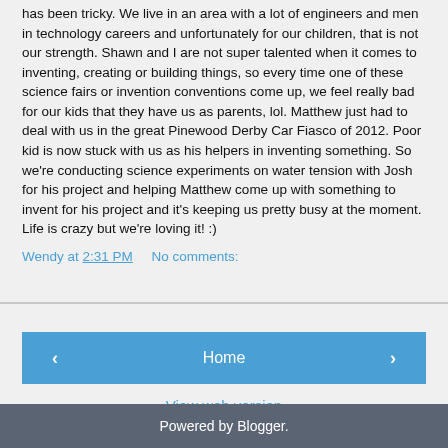has been tricky. We live in an area with a lot of engineers and men in technology careers and unfortunately for our children, that is not our strength. Shawn and I are not super talented when it comes to inventing, creating or building things, so every time one of these science fairs or invention conventions come up, we feel really bad for our kids that they have us as parents, lol. Matthew just had to deal with us in the great Pinewood Derby Car Fiasco of 2012. Poor kid is now stuck with us as his helpers in inventing something. So we're conducting science experiments on water tension with Josh for his project and helping Matthew come up with something to invent for his project and it's keeping us pretty busy at the moment. Life is crazy but we're loving it! :)
Wendy at 2:31 PM    No comments:
Powered by Blogger.